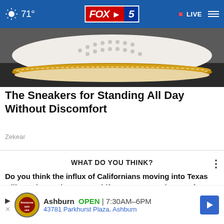71° FOX 5 LIVE
[Figure (photo): Close-up photo of a white perforated sneaker/shoe with a tan/brown sole, resting on a dark surface.]
The Sneakers for Standing All Day Without Discomfort
Zekear
WHAT DO YOU THINK?
Do you think the influx of Californians moving into Texas will accelerate the state's shift to a Democratic state from a Republican one?
[Figure (screenshot): Bottom advertisement banner for Firestone Auto Care in Ashburn. Shows store logo, OPEN status, hours 7:30AM-6PM, address 43781 Parkhurst Plaza Ashburn, and a blue navigation arrow icon.]